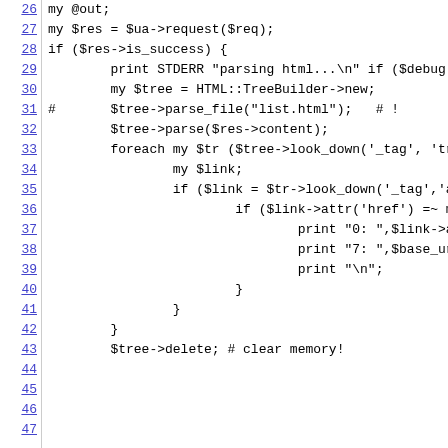[Figure (screenshot): Source code listing in Perl showing lines 26-47. Line numbers on left (linked/underlined in blue), code on right in monospace font. Code shows HTTP request handling, HTML parsing with HTML::TreeBuilder, iterating over tree elements, and memory cleanup.]